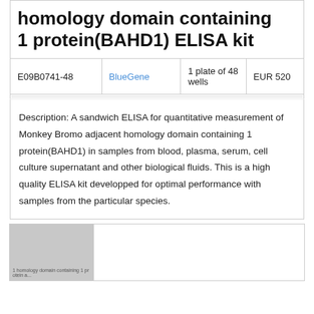homology domain containing 1 protein(BAHD1) ELISA kit
|  |  |  |  |
| --- | --- | --- | --- |
| E09B0741-48 | BlueGene | 1 plate of 48 wells | EUR 520 |
Description: A sandwich ELISA for quantitative measurement of Monkey Bromo adjacent homology domain containing 1 protein(BAHD1) in samples from blood, plasma, serum, cell culture supernatant and other biological fluids. This is a high quality ELISA kit developped for optimal performance with samples from the particular species.
[Figure (photo): Thumbnail image placeholder for homology domain containing 1 protein ELISA kit product, shown as a grey box with small label text.]